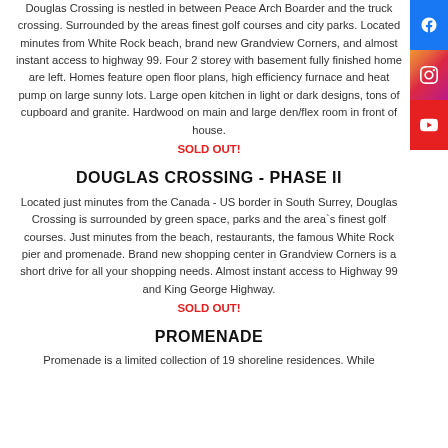Douglas Crossing is nestled in between Peace Arch Boarder and the truck crossing. Surrounded by the areas finest golf courses and city parks. Located minutes from White Rock beach, brand new Grandview Corners, and almost instant access to highway 99. Four 2 storey with basement fully finished home are left. Homes feature open floor plans, high efficiency furnace and heat pump on large sunny lots. Large open kitchen in light or dark designs, tons of cupboard and granite. Hardwood on main and large den/flex room in front of house.
SOLD OUT!
DOUGLAS CROSSING - PHASE II
Located just minutes from the Canada - US border in South Surrey, Douglas Crossing is surrounded by green space, parks and the area`s finest golf courses. Just minutes from the beach, restaurants, the famous White Rock pier and promenade. Brand new shopping center in Grandview Corners is a short drive for all your shopping needs. Almost instant access to Highway 99 and King George Highway.
SOLD OUT!
PROMENADE
Promenade is a limited collection of 19 shoreline residences. While